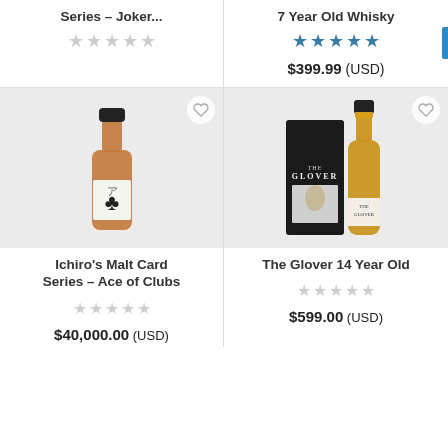Series – Joker...
[Figure (other): Empty star rating (5 stars, unfilled, grey)]
7 Year Old Whisky
[Figure (other): Star rating: 5 filled blue stars]
$399.99 (USD)
[Figure (photo): Ichiro's Malt Card Series whisky bottle with ace of clubs playing card label, amber liquid, black cap, white background]
Ichiro's Malt Card Series – Ace of Clubs
[Figure (other): Empty star rating (5 stars, unfilled, grey)]
$40,000.00 (USD)
[Figure (photo): The Glover 14 Year Old whisky bottle with black gift box, golden amber whisky, portrait label]
The Glover 14 Year Old
[Figure (other): Empty star rating (5 stars, unfilled, grey)]
$599.00 (USD)